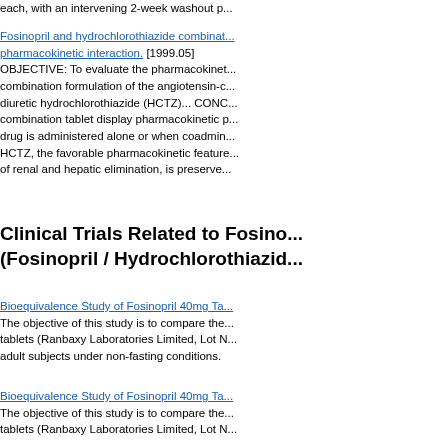each, with an intervening 2-week washout p...
Fosinopril and hydrochlorothiazide combinat... pharmacokinetic interaction. [1999.05] OBJECTIVE: To evaluate the pharmacokinet... combination formulation of the angiotensin-c... diuretic hydrochlorothiazide (HCTZ)... CONC... combination tablet display pharmacokinetic p... drug is administered alone or when coadmin... HCTZ, the favorable pharmacokinetic feature... of renal and hepatic elimination, is preserve...
Clinical Trials Related to Fosino... (Fosinopril / Hydrochlorothiazid...
Bioequivalence Study of Fosinopril 40mg Ta... The objective of this study is to compare the... tablets (Ranbaxy Laboratories Limited, Lot N... adult subjects under non-fasting conditions.
Bioequivalence Study of Fosinopril 40mg Ta... The objective of this study is to compare the... tablets (Ranbaxy Laboratories Limited, Lot N...